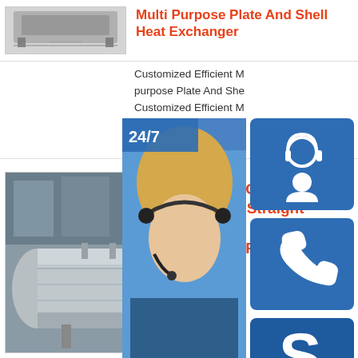[Figure (photo): Small product photo of a plate and shell heat exchanger unit, gray tones]
Multi Purpose Plate And Shell Heat Exchanger
Customized Efficient Multi-purpose Plate And Shell ... Customized Efficient Multi-purpose Plate A ...
Reply
[Figure (photo): Customer service overlay widget showing a woman with headset, 24/7 label, headset icon button, phone icon button, Skype icon button, online live button]
[Figure (photo): Product photo of a large horizontal cylindrical steel pressure vessel / ERW tube production equipment]
ERW Carbon Steel Straight Seam Welding Tube Production Line